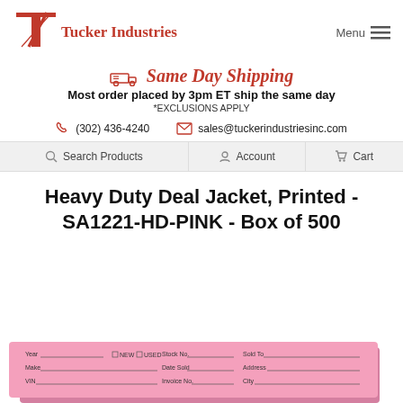[Figure (logo): Tucker Industries logo with red T and diagonal slash]
Tucker Industries
Menu
🚚 Same Day Shipping
Most order placed by 3pm ET ship the same day
*EXCLUSIONS APPLY
(302) 436-4240
sales@tuckerindustriesinc.com
Search Products
Account
Cart
Heavy Duty Deal Jacket, Printed - SA1221-HD-PINK - Box of 500
[Figure (photo): Pink deal jacket/envelope with printed fields for Year, Make, NEW/USED checkboxes, Stock No., Date Sold, Invoice No., Sold To, Address, City]